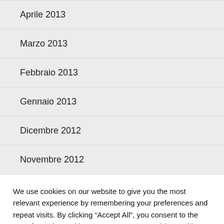Aprile 2013
Marzo 2013
Febbraio 2013
Gennaio 2013
Dicembre 2012
Novembre 2012
We use cookies on our website to give you the most relevant experience by remembering your preferences and repeat visits. By clicking “Accept All”, you consent to the use of ALL the cookies. However, you may visit "Cookie Settings" to provide a controlled consent.
Cookie Settings | Accept All